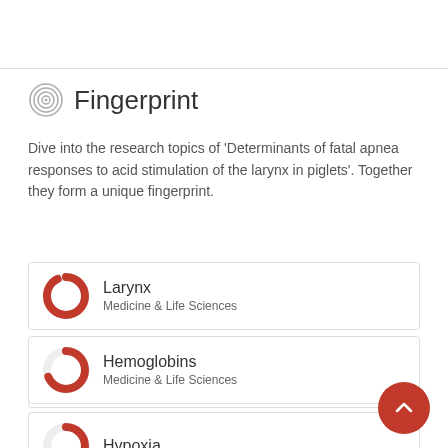Fingerprint
Dive into the research topics of 'Determinants of fatal apnea responses to acid stimulation of the larynx in piglets'. Together they form a unique fingerprint.
Larynx — Medicine & Life Sciences
Apnea — Medicine & Life Sciences
Hemoglobins — Medicine & Life Sciences
Hypoxia